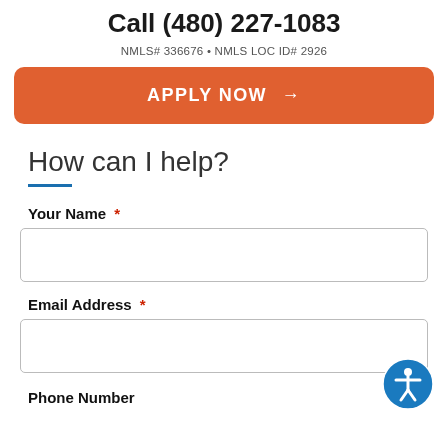Call (480) 227-1083
NMLS# 336676 • NMLS LOC ID# 2926
APPLY NOW →
How can I help?
Your Name *
Email Address *
Phone Number